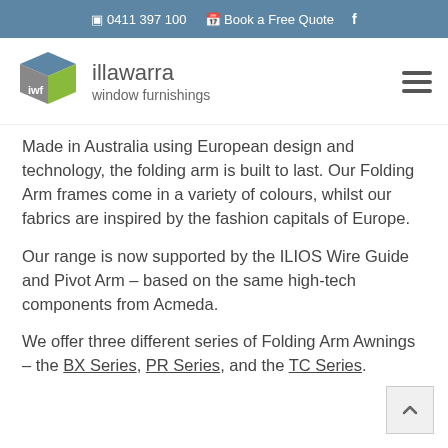☎ 0411 397 100  📅 Book a Free Quote  f
[Figure (logo): IWF cube logo with blue, grey and green faces]
illawarra window furnishings
Made in Australia using European design and technology, the folding arm is built to last. Our Folding Arm frames come in a variety of colours, whilst our fabrics are inspired by the fashion capitals of Europe.
Our range is now supported by the ILIOS Wire Guide and Pivot Arm – based on the same high-tech components from Acmeda.
We offer three different series of Folding Arm Awnings – the BX Series, PR Series, and the TC Series.